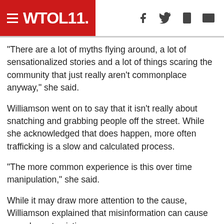WTOL 11.
"There are a lot of myths flying around, a lot of sensationalized stories and a lot of things scaring the community that just really aren't commonplace anyway," she said.
Williamson went on to say that it isn't really about snatching and grabbing people off the street. While she acknowledged that does happen, more often trafficking is a slow and calculated process.
"The more common experience is this over time manipulation," she said.
While it may draw more attention to the cause, Williamson explained that misinformation can cause more harm to victims.
"What happens when those myths get out there, is that the people who have the money, the power, the resources, the